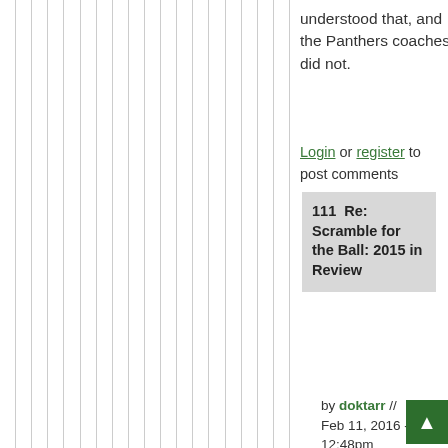understood that, and the Panthers coaches did not.
Login or register to post comments
111  Re: Scramble for the Ball: 2015 in Review
by doktarr // Feb 11, 2016 - 12:48pm
After last year, I think most people